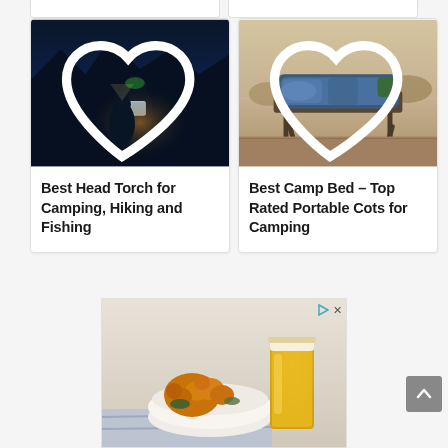[Figure (photo): Two people (adults or children) looking at a phone screen at night with mountain silhouette backdrop — head torch camping article thumbnail]
Best Head Torch for Camping, Hiking and Fishing
[Figure (photo): A camping cot with sleeping bag outdoors in a dry, rocky landscape — camp bed article thumbnail]
Best Camp Bed – Top Rated Portable Cots for Camping
[Figure (photo): Advertisement image showing fried food in a white bowl next to a glass of beer on a blue cloth]